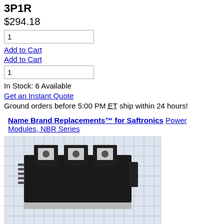3P1R
$294.18
1
Add to Cart
Add to Cart
1
In Stock: 6 Available
Get an Instant Quote
Ground orders before 5:00 PM ET ship within 24 hours!
Name Brand Replacements™ for Saftronics Power Modules, NBR Series
[Figure (photo): Product photo of a Saftronics power module (black rectangular component with three metal terminals on top and silver base plate) on a blue grid background. Galco Industrial Electronics logo and www.galco.com URL visible.]